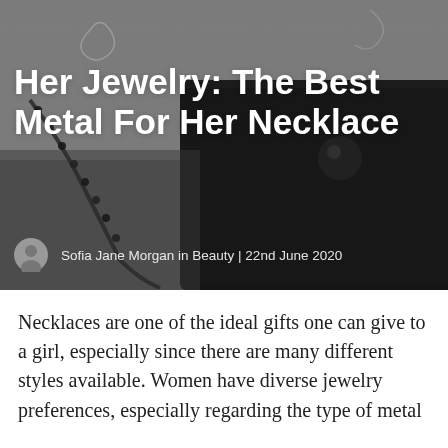[Figure (photo): Dark moody photo of a beaded necklace with pendant resting on a dark black box, on a light wooden surface. Hero image for a jewelry article.]
Her Jewelry: The Best Metal For Her Necklace
Sofia Jane Morgan in Beauty | 22nd June 2020
Necklaces are one of the ideal gifts one can give to a girl, especially since there are many different styles available. Women have diverse jewelry preferences, especially regarding the type of metal